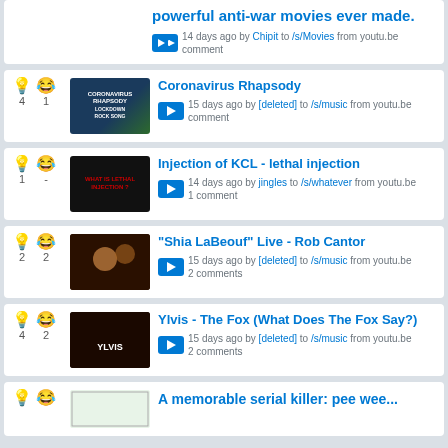powerful anti-war movies ever made. | 14 days ago by Chipit to /s/Movies from youtu.be | comment
Coronavirus Rhapsody | 15 days ago by [deleted] to /s/music from youtu.be | comment | votes: 4, comments: 1
Injection of KCL - lethal injection | 14 days ago by jingles to /s/whatever from youtu.be | 1 comment | votes: 1
"Shia LaBeouf" Live - Rob Cantor | 15 days ago by [deleted] to /s/music from youtu.be | 2 comments | votes: 2, comments: 2
Ylvis - The Fox (What Does The Fox Say?) | 15 days ago by [deleted] to /s/music from youtu.be | 2 comments | votes: 4, comments: 2
A memorable serial killer: pee wee...